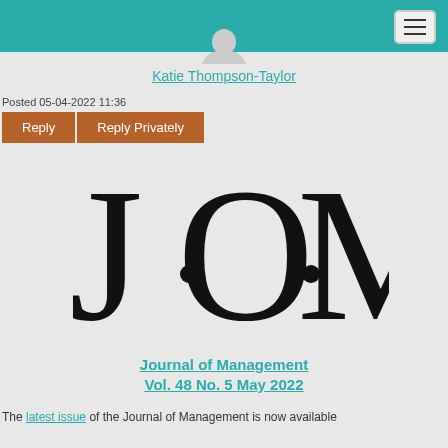[Figure (screenshot): Teal navigation bar at top with hamburger menu button in top right corner]
Katie Thompson-Taylor
Posted 05-04-2022 11:36
Reply   Reply Privately
[Figure (logo): Journal of Management logo showing stylized letters J.O.M in large serif font with dots between letters]
Journal of Management
Vol. 48 No. 5 May 2022
The latest issue of the Journal of Management is now available